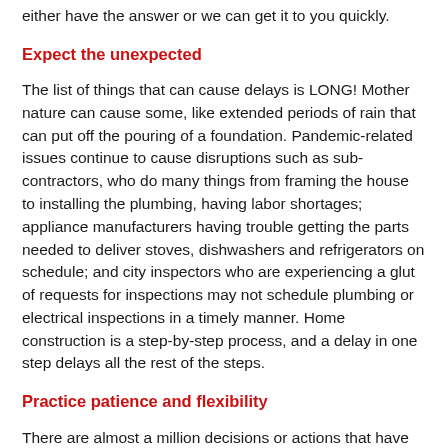either have the answer or we can get it to you quickly.
Expect the unexpected
The list of things that can cause delays is LONG! Mother nature can cause some, like extended periods of rain that can put off the pouring of a foundation. Pandemic-related issues continue to cause disruptions such as sub-contractors, who do many things from framing the house to installing the plumbing, having labor shortages; appliance manufacturers having trouble getting the parts needed to deliver stoves, dishwashers and refrigerators on schedule; and city inspectors who are experiencing a glut of requests for inspections may not schedule plumbing or electrical inspections in a timely manner. Home construction is a step-by-step process, and a delay in one step delays all the rest of the steps.
Practice patience and flexibility
There are almost a million decisions or actions that have